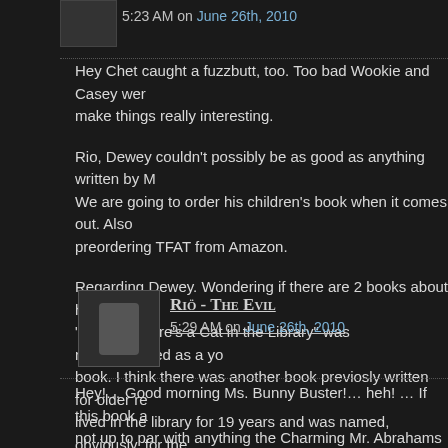5:23 AM on June 26th, 2010
Hey Chet caught a fuzzbutt, too. Too bad Wookie and Casey wer make things really interesting.
Rio, Dewey couldn't possibly be as good as anything written by M We are going to order his children's book when it comes out. Also preordering TFAT from Amazon.
Regarding Dewey. Wondering if there are 2 books about him. The "Dewey, There's a Cat in the Library" was recommended as a yo book. I think there was another book previosly written for older re lived in the library for 19 years and was named, obviously, for the System.
Riö - The Evil
5:29 AM on June 26th, 2010
Hey!… Good morning Ms. Bunny Buster!… heh! … If this book a not up to par with anything the Charming Mr. Abrahams writes…. you go on about it so much? …grunt!